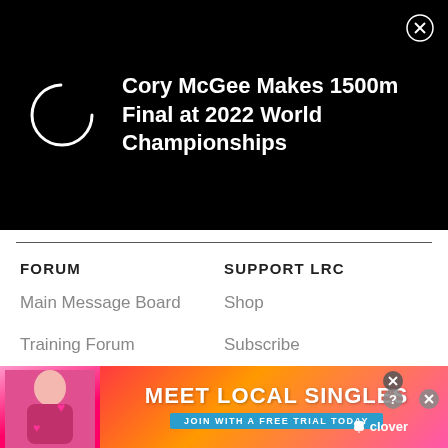[Figure (screenshot): Mobile notification overlay on black background showing a loading spinner circle icon and the text 'Cory McGee Makes 1500m Final at 2022 World Championships' with a close (X) button in the top right]
FORUM
SUPPORT LRC
Main Message Board
Shop
Training Forum
Subscribe
College Forum
Coaching Plans
[Figure (screenshot): Ad banner with gradient pink/orange background showing a woman photo on left, 'MEET LOCAL SINGLES' headline in white bold text, 'JOIN WITH A FREE TRIAL TODAY' button, and Clover logo on right]